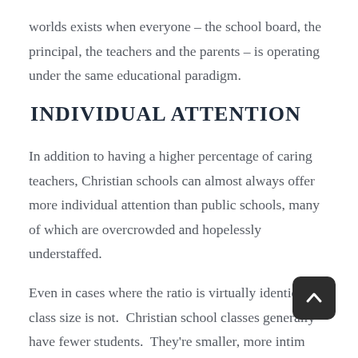worlds exists when everyone – the school board, the principal, the teachers and the parents – is operating under the same educational paradigm.
INDIVIDUAL ATTENTION
In addition to having a higher percentage of caring teachers, Christian schools can almost always offer more individual attention than public schools, many of which are overcrowded and hopelessly understaffed.
Even in cases where the ratio is virtually identical, class size is not.  Christian school classes generally have fewer students.  They're smaller, more intim… gatherings that encourage students to be participants